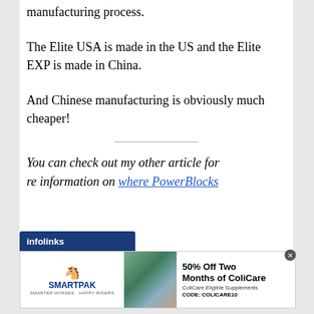manufacturing process.
The Elite USA is made in the US and the Elite EXP is made in China.
And Chinese manufacturing is obviously much cheaper!
You can check out my other article for more information on where PowerBlocks
[Figure (screenshot): Advertisement banner for SmartPak featuring ColiCare supplement offer: 50% Off Two Months of ColiCare, ColiCare Eligible Supplements, CODE: COLICARE10, with Shop Now button. Infolinks label visible.]